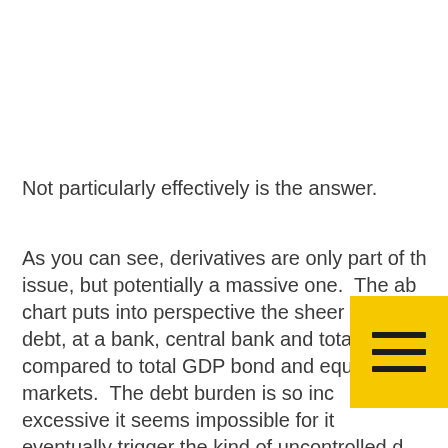Not particularly effectively is the answer.
As you can see, derivatives are only part of the issue, but potentially a massive one. The above chart puts into perspective the sheer scale of debt, at a bank, central bank and total level, compared to total GDP bond and equity markets. The debt burden is so incredibly excessive it seems impossible for it to not eventually trigger the kind of uncontrolled d...